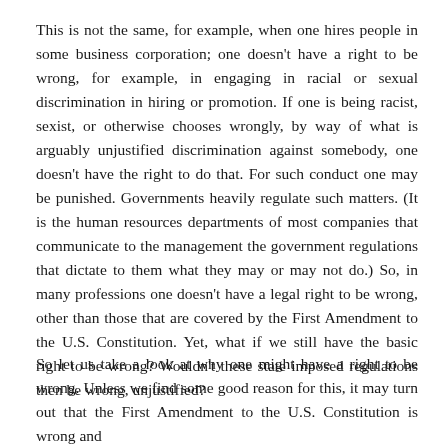This is not the same, for example, when one hires people in some business corporation; one doesn't have a right to be wrong, for example, in engaging in racial or sexual discrimination in hiring or promotion. If one is being racist, sexist, or otherwise chooses wrongly, by way of what is arguably unjustified discrimination against somebody, one doesn't have the right to do that. For such conduct one may be punished. Governments heavily regulate such matters. (It is the human resources departments of most companies that communicate to the management the government regulations that dictate to them what they may or may not do.) So, in many professions one doesn't have a legal right to be wrong, other than those that are covered by the First Amendment to the U.S. Constitution. Yet, what if we still have the basic right to be wrong? Wouldn't these state imposed regulations then be wrong, unjustified?
So let us take a look at why one might have a right to be wrong. Unless we find some good reason for this, it may turn out that the First Amendment to the U.S. Constitution is wrong and